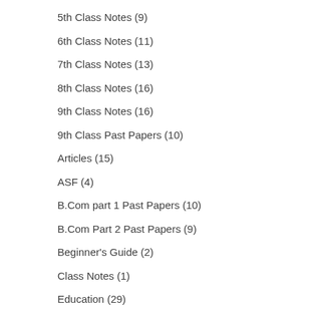5th Class Notes (9)
6th Class Notes (11)
7th Class Notes (13)
8th Class Notes (16)
9th Class Notes (16)
9th Class Past Papers (10)
Articles (15)
ASF (4)
B.Com part 1 Past Papers (10)
B.Com Part 2 Past Papers (9)
Beginner's Guide (2)
Class Notes (1)
Education (29)